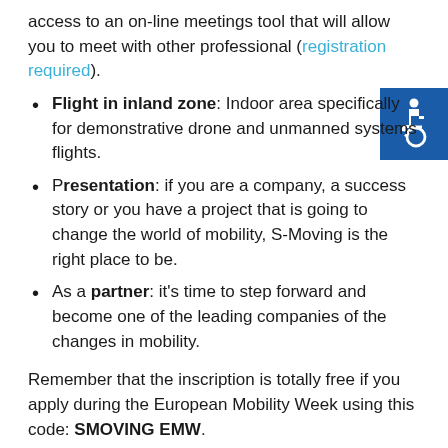access to an on-line meetings tool that will allow you to meet with other professional (registration required).
Flight in inland zone: Indoor area specifically for demonstrative drone and unmanned systems flights.
Presentation: if you are a company, a success story or you have a project that is going to change the world of mobility, S-Moving is the right place to be.
As a partner: it's time to step forward and become one of the leading companies of the changes in mobility.
Remember that the inscription is totally free if you apply during the European Mobility Week using this code: SMOVING EMW.
[Figure (illustration): Accessibility icon — white wheelchair symbol on blue square background]